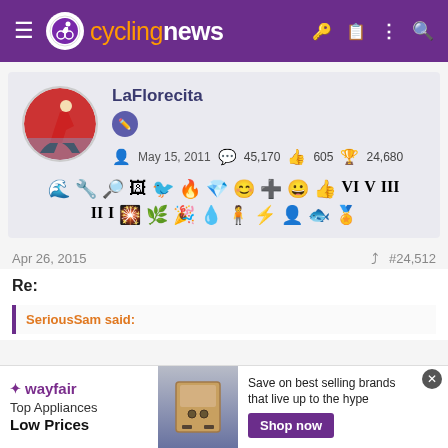cyclingnews
[Figure (screenshot): User profile card for LaFlorecita with avatar, badge, join date May 15 2011, 45170 messages, 605 likes, 24680 trophy points, and multiple achievement badge icons]
Apr 26, 2015  #24,512
Re:
SeriousSam said:
[Figure (screenshot): Wayfair advertisement: Top Appliances Low Prices, Save on best selling brands that live up to the hype, Shop now button]